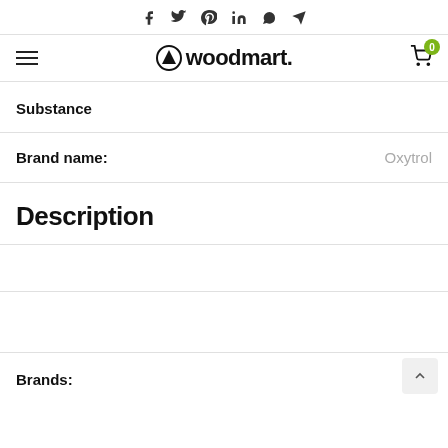f  tw  pinterest  in  whatsapp  telegram  [social icons]
woodmart. [logo] [hamburger menu] [cart 0]
Substance
Brand name: Oxytrol
Description
Brands: